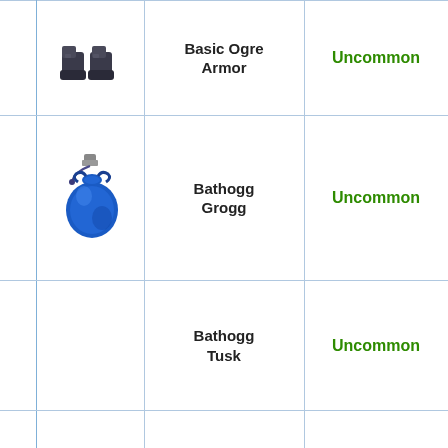|  | Icon | Name | Rarity |
| --- | --- | --- | --- |
|  | [boots icon] | Basic Ogre Armor | Uncommon |
|  | [grogg icon] | Bathogg Grogg | Uncommon |
|  |  | Bathogg Tusk | Uncommon |
|  |  | Battle Cookie | Uncommon |
|  |  | B... |  |